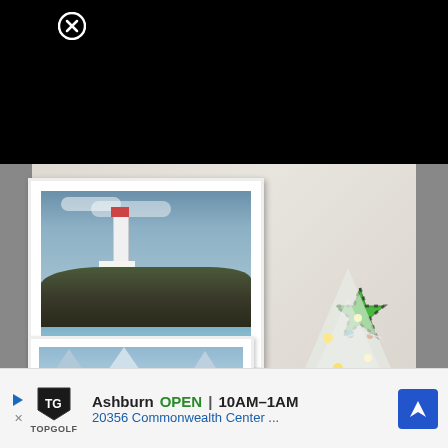[Figure (screenshot): Screenshot of a webpage/app showing a close button (X in circle) at top left on black background, with a photo below showing two framed paintings on a wall (a lighthouse seascape painting in white frame at top, and a mountain landscape painting at bottom), plus a Christmas tree with a green star topper on the right side. At the very bottom is an advertisement banner for TopGolf in Ashburn showing OPEN 10AM-1AM and address 20356 Commonwealth Center...]
[Figure (photo): Photo of a room wall with two framed paintings hung on it. The upper painting is a lighthouse scene with rocky coastline and ocean waves in a white frame. Below is a narrower horizontal mountain landscape painting also in a white frame. On the right side is the top of a white Christmas tree with a green star topper decorated with black and white stripes and small ornaments.]
Ashburn OPEN | 10AM–1AM
20356 Commonwealth Center ...